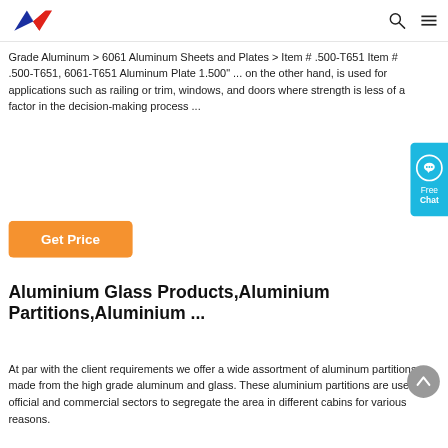AW logo, search icon, menu icon
Grade Aluminum > 6061 Aluminum Sheets and Plates > Item # .500-T651 Item # .500-T651, 6061-T651 Aluminum Plate 1.500" ... on the other hand, is used for applications such as railing or trim, windows, and doors where strength is less of a factor in the decision-making process ...
[Figure (other): Blue Free Chat widget with speech bubble icon]
[Figure (other): Orange Get Price button]
Aluminium Glass Products,Aluminium Partitions,Aluminium ...
At par with the client requirements we offer a wide assortment of aluminum partitions made from the high grade aluminum and glass. These aluminium partitions are used in official and commercial sectors to segregate the area in different cabins for various reasons.